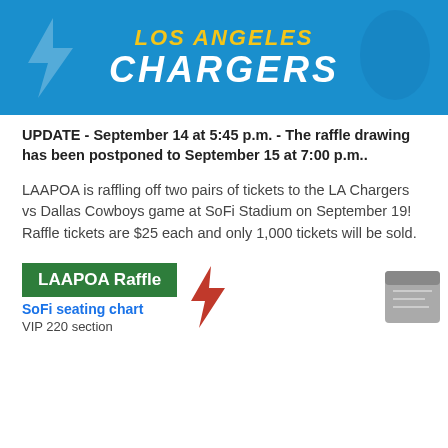[Figure (illustration): Los Angeles Chargers team banner with blue background, player silhouette, LOS ANGELES text in gold italic and CHARGERS in white italic bold]
UPDATE - September 14 at 5:45 p.m. - The raffle drawing has been postponed to September 15 at 7:00 p.m..
LAAPOA is raffling off two pairs of tickets to the LA Chargers vs Dallas Cowboys game at SoFi Stadium on September 19! Raffle tickets are $25 each and only 1,000 tickets will be sold.
[Figure (illustration): LAAPOA Raffle green badge, SoFi seating chart link in blue, VIP 220 section text, partial ticket and lightning bolt graphics visible at bottom]